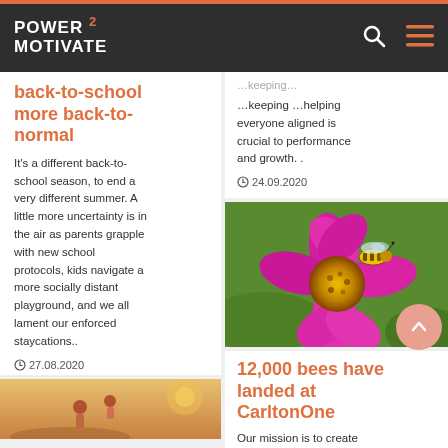POWER 2 MOTIVATE
back-to-school more back-to-normal
It's a different back-to-school season, to end a very different summer. A little more uncertainty is in the air as parents grapple with new school protocols, kids navigate a more socially distant playground, and we all lament our enforced staycations..
27.08.2020
[Figure (photo): Children playing outdoors in warm sunlight]
...keeping everyone aligned is crucial to performance and growth..
24.09.2020
[Figure (photo): Close-up of a honey bee on a bright pink cosmos flower]
12,000 bees have landed at CarltonOne
Our mission is to create talent to technology that